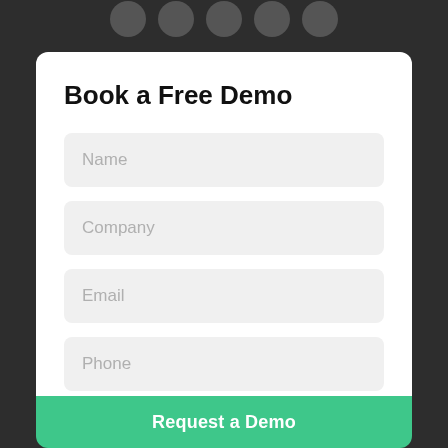Book a Free Demo
Name
Company
Email
Phone
Message
Request a Demo